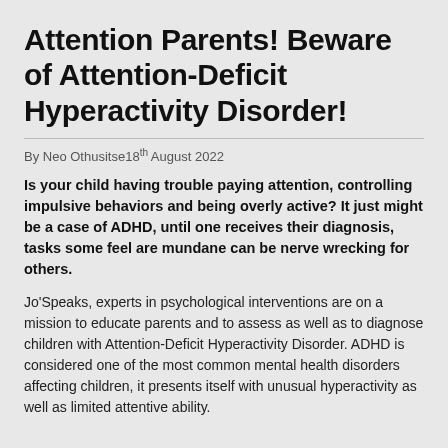Attention Parents! Beware of Attention-Deficit Hyperactivity Disorder!
By Neo Othusitse18th August 2022
Is your child having trouble paying attention, controlling impulsive behaviors and being overly active? It just might be a case of ADHD, until one receives their diagnosis, tasks some feel are mundane can be nerve wrecking for others.
Jo'Speaks, experts in psychological interventions are on a mission to educate parents and to assess as well as to diagnose children with Attention-Deficit Hyperactivity Disorder. ADHD is considered one of the most common mental health disorders affecting children, it presents itself with unusual hyperactivity as well as limited attentive ability.